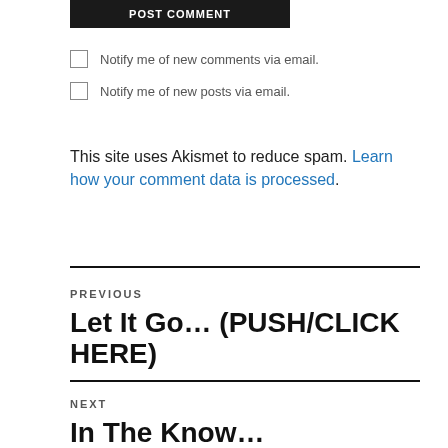[Figure (other): POST COMMENT button - dark background with white text]
Notify me of new comments via email.
Notify me of new posts via email.
This site uses Akismet to reduce spam. Learn how your comment data is processed.
PREVIOUS
Let It Go… (PUSH/CLICK HERE)
NEXT
In The Know… (PUSH/CLICK